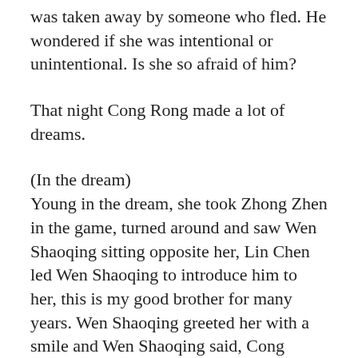was taken away by someone who fled. He wondered if she was intentional or unintentional. Is she so afraid of him?
That night Cong Rong made a lot of dreams.
(In the dream)
Young in the dream, she took Zhong Zhen in the game, turned around and saw Wen Shaoqing sitting opposite her, Lin Chen led Wen Shaoqing to introduce him to her, this is my good brother for many years. Wen Shaoqing greeted her with a smile and Wen Shaoqing said, Cong Rong, I have seen you.
Then it was a hot afternoon. She was sitting in the old library with a sheet of paper in front of her. The...